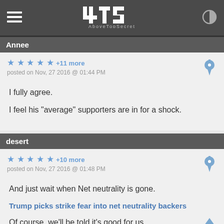ATS AboveTopSecret
Annee
★★★★★ +11 more
posted on Nov, 27 2016 @ 01:44 PM
I fully agree.

I feel his "average" supporters are in for a shock.
desert
★★★★★ +10 more
posted on Nov, 27 2016 @ 01:48 PM
And just wait when Net neutrality is gone.

Trump picks strike fear into net neutrality backers

Of course, we'll be told it's good for us.